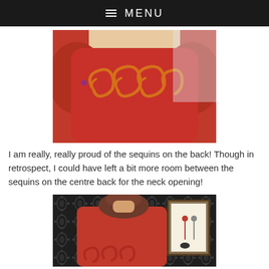≡ MENU
[Figure (photo): Close-up of the back of a red garment/sweater showing decorative swirl/scroll sequin embellishments across the upper back, with a person wearing it visible from the neck down.]
I am really, really proud of the sequins on the back!  Though in retrospect, I could have left a bit more room between the sequins on the centre back for the neck opening!
[Figure (photo): Back view of a woman with brown hair wearing a red garment with swirl sequin decorations at the bottom, standing in front of a black and white damask wallpaper with a framed artwork visible on the right.]